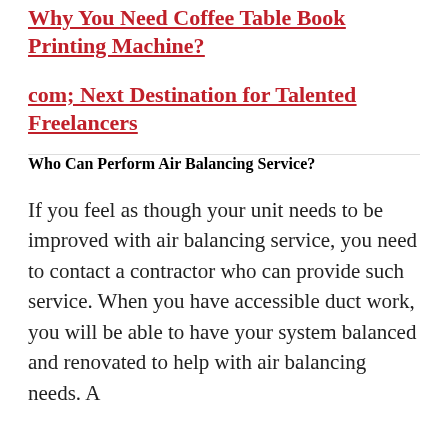Why You Need Coffee Table Book Printing Machine?
com; Next Destination for Talented Freelancers
Who Can Perform Air Balancing Service?
If you feel as though your unit needs to be improved with air balancing service, you need to contact a contractor who can provide such service. When you have accessible duct work, you will be able to have your system balanced and renovated to help with air balancing needs. A